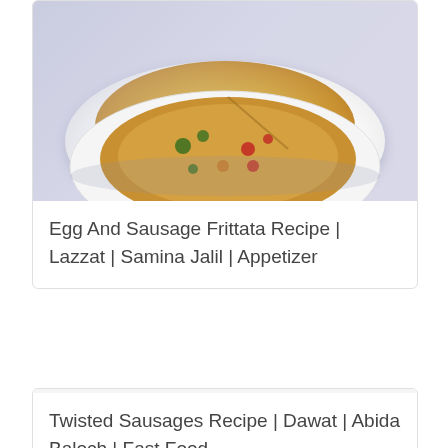[Figure (photo): A frittata with egg and sausage toppings served on a white plate, partially sliced, viewed from above]
Egg And Sausage Frittata Recipe | Lazzat | Samina Jalil | Appetizer
[Figure (photo): Blank/empty image placeholder for Twisted Sausages recipe]
Twisted Sausages Recipe | Dawat | Abida Baloch | Fast Food